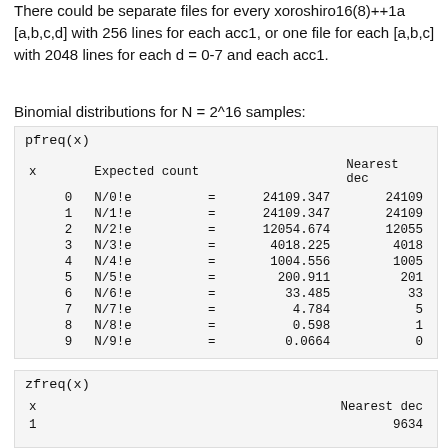There could be separate files for every xoroshiro16(8)++1a [a,b,c,d] with 256 lines for each acc1, or one file for each [a,b,c] with 2048 lines for each d = 0-7 and each acc1.
Binomial distributions for N = 2^16 samples:
| x | Expected count |  | Nearest dec |
| --- | --- | --- | --- |
| 0 | N/0!e | = | 24109.347 | 24109 |
| 1 | N/1!e | = | 24109.347 | 24109 |
| 2 | N/2!e | = | 12054.674 | 12055 |
| 3 | N/3!e | = | 4018.225 | 4018 |
| 4 | N/4!e | = | 1004.556 | 1005 |
| 5 | N/5!e | = | 200.911 | 201 |
| 6 | N/6!e | = | 33.485 | 33 |
| 7 | N/7!e | = | 4.784 | 5 |
| 8 | N/8!e | = | 0.598 | 1 |
| 9 | N/9!e | = | 0.0664 | 0 |
| x | Nearest dec |
| --- | --- |
| 1 | 9634 |